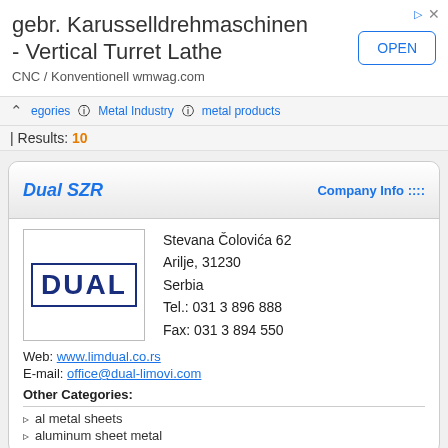[Figure (screenshot): Advertisement banner for gebr. Karusselldrehmaschinen - Vertical Turret Lathe with OPEN button]
categories  Metal Industry  metal products
Results: 10
Dual SZR
Company Info ::::
[Figure (logo): DUAL company logo in dark blue block letters with border]
Stevana Čolovića 62
Arilje, 31230
Serbia
Tel.: 031 3 896 888
Fax: 031 3 894 550
Web: www.limdual.co.rs
E-mail: office@dual-limovi.com
Other Categories:
al metal sheets
aluminum sheet metal